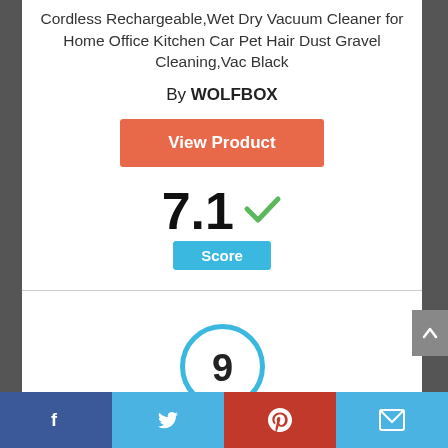Cordless Rechargeable,Wet Dry Vacuum Cleaner for Home Office Kitchen Car Pet Hair Dust Gravel Cleaning,Vac Black
By WOLFBOX
View Product
7.1 ✓ Score
[Figure (infographic): Circle badge with number 9 in blue outline circle]
Facebook | Twitter | Pinterest | Mail